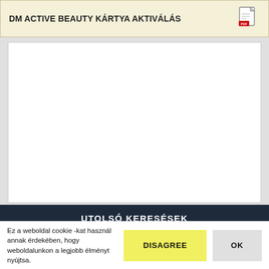DM ACTIVE BEAUTY KÁRTYA AKTIVÁLÁS
[Figure (other): PDF file icon]
[Figure (other): Large white empty content area with border]
UTOLSÓ KERESÉSEK
Ez a weboldal cookie -kat használ annak érdekében, hogy weboldalunkon a legjobb élményt nyújtsa.
DISAGREE
OK